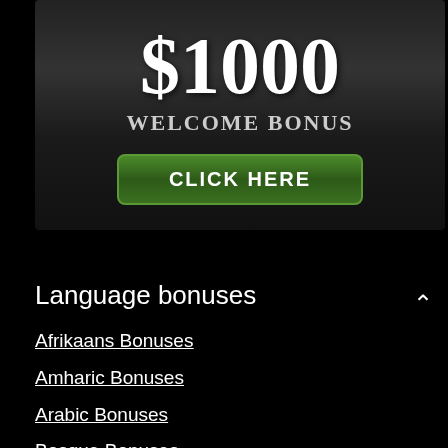[Figure (infographic): Dark banner ad showing $1000 Welcome Bonus with a green CLICK HERE button]
Language bonuses
Afrikaans Bonuses
Amharic Bonuses
Arabic Bonuses
Basque Bonuses
Bulgarian Bonuses